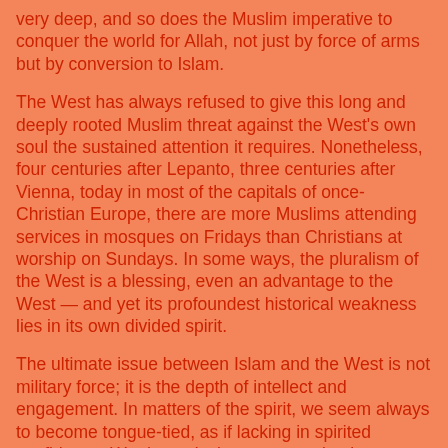very deep, and so does the Muslim imperative to conquer the world for Allah, not just by force of arms but by conversion to Islam.
The West has always refused to give this long and deeply rooted Muslim threat against the West's own soul the sustained attention it requires. Nonetheless, four centuries after Lepanto, three centuries after Vienna, today in most of the capitals of once-Christian Europe, there are more Muslims attending services in mosques on Fridays than Christians at worship on Sundays. In some ways, the pluralism of the West is a blessing, even an advantage to the West — and yet its profoundest historical weakness lies in its own divided spirit.
The ultimate issue between Islam and the West is not military force; it is the depth of intellect and engagement. In matters of the spirit, we seem always to become tongue-tied, as if lacking in spirited confidence. We do not insist on presenting better arguments in recognition of the inalienable rights to human liberty that our totalitarian opponents deny. Mere secular force will not do, since the fundamental battle is spiritual. Thus, the same movie seems to be played over and over.